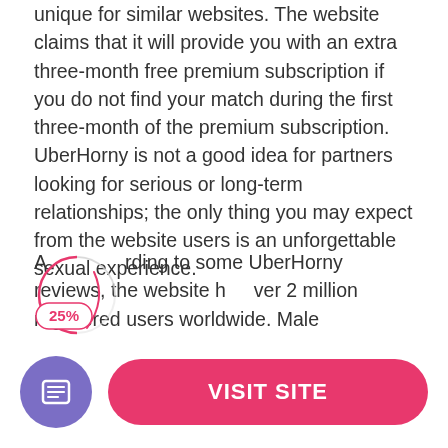unique for similar websites. The website claims that it will provide you with an extra three-month free premium subscription if you do not find your match during the first three-month of the premium subscription. UberHorny is not a good idea for partners looking for serious or long-term relationships; the only thing you may expect from the website users is an unforgettable sexual experience.
According to some UberHorny reviews, the website has over 2 million registered users worldwide. Male dominate on the website, composing 78% of the whole population. Although the most active users
[Figure (donut-chart): Partial donut/pie chart showing 25% label in pink/red, with a circular arc indicator overlaid on the text]